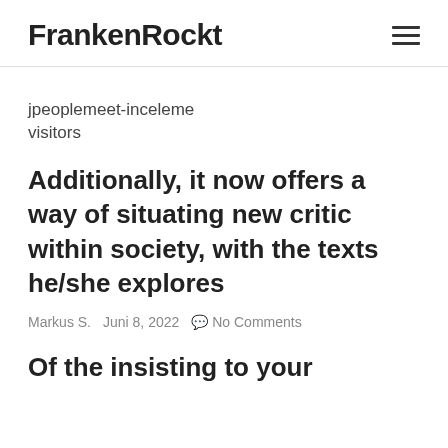FrankenRockt
jpeoplemeet-inceleme visitors
Additionally, it now offers a way of situating new critic within society, with the texts he/she explores
Markus S.   Juni 8, 2022   No Comments
Of the insisting to your